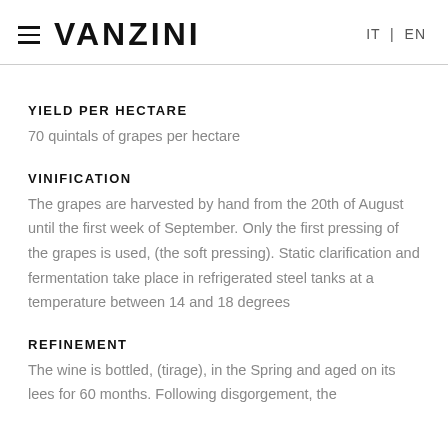VANZINI  IT | EN
YIELD PER HECTARE
70 quintals of grapes per hectare
VINIFICATION
The grapes are harvested by hand from the 20th of August until the first week of September. Only the first pressing of the grapes is used, (the soft pressing). Static clarification and fermentation take place in refrigerated steel tanks at a temperature between 14 and 18 degrees
REFINEMENT
The wine is bottled, (tirage), in the Spring and aged on its lees for 60 months. Following disgorgement, the…